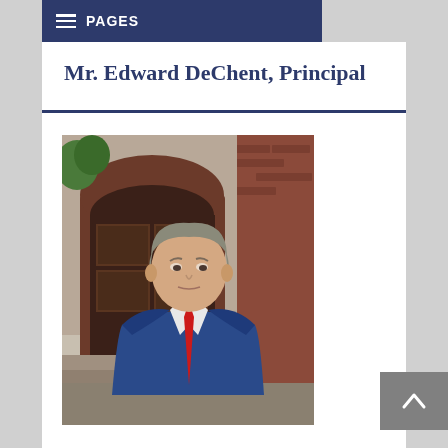PAGES
Mr. Edward DeChent, Principal
[Figure (photo): Portrait photo of Mr. Edward DeChent, a middle-aged man in a blue suit with a red tie, standing in front of a brick building with a large arched wooden door, presumably the school entrance.]